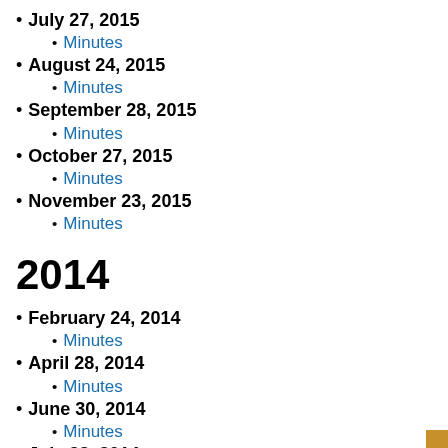July 27, 2015
Minutes
August 24, 2015
Minutes
September 28, 2015
Minutes
October 27, 2015
Minutes
November 23, 2015
Minutes
2014
February 24, 2014
Minutes
April 28, 2014
Minutes
June 30, 2014
Minutes
July 28, 2014
Minutes
August 25, 2014